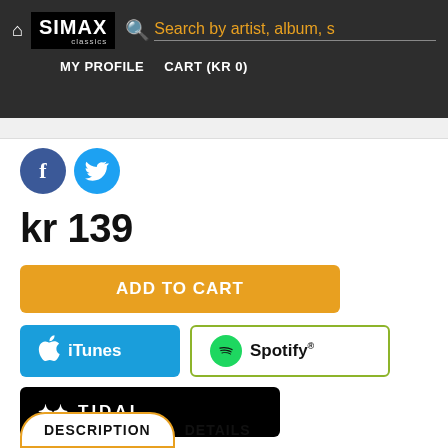SIMAX classics — Search by artist, album, s — MY PROFILE  CART (KR 0)
[Figure (logo): Facebook and Twitter social share icons]
kr 139
ADD TO CART
[Figure (logo): iTunes button]
[Figure (logo): Spotify button]
[Figure (logo): TIDAL button]
Genre: Concerto  Piano
World premiere recording
DESCRIPTION   DETAILS